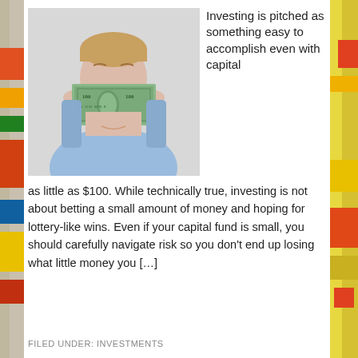[Figure (photo): A young man in a light blue polo shirt holding up a $100 bill in front of his face, obscuring the lower half. The background is light grey.]
Investing is pitched as something easy to accomplish even with capital as little as $100. While technically true, investing is not about betting a small amount of money and hoping for lottery-like wins. Even if your capital fund is small, you should carefully navigate risk so you don't end up losing what little money you […]
FILED UNDER: INVESTMENTS